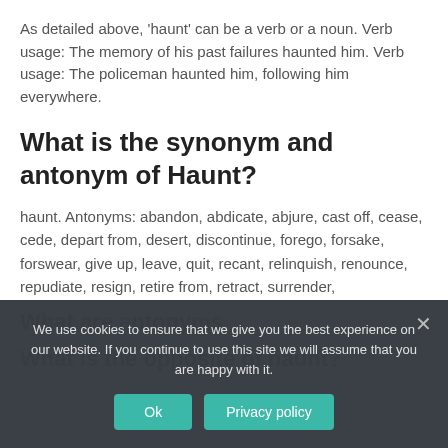As detailed above, 'haunt' can be a verb or a noun. Verb usage: The memory of his past failures haunted him. Verb usage: The policeman haunted him, following him everywhere.
What is the synonym and antonym of Haunt?
haunt. Antonyms: abandon, abdicate, abjure, cast off, cease, cede, depart from, desert, discontinue, forego, forsake, forswear, give up, leave, quit, recant, relinquish, renounce, repudiate, resign, retire from, retract, surrender,
What are antonyms...
What is the opposite of haunt?
We use cookies to ensure that we give you the best experience on our website. If you continue to use this site we will assume that you are happy with it.